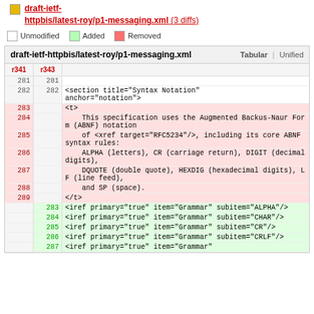draft-ietf-httpbis/latest-roy/p1-messaging.xml (3 diffs)
Unmodified  Added  Removed
| r341 | r343 | code |
| --- | --- | --- |
| 281 | 281 |  |
| 282 | 282 | <section title="Syntax Notation" anchor="notation"> |
| 283 |  | <t> |
| 284 |  |     This specification uses the Augmented Backus-Naur Form (ABNF) notation |
| 285 |  |     of <xref target="RFC5234"/>, including its core ABNF syntax rules: |
| 286 |  |     ALPHA (letters), CR (carriage return), DIGIT (decimal digits), |
| 287 |  |     DQUOTE (double quote), HEXDIG (hexadecimal digits), LF (line feed), |
| 288 |  |     and SP (space). |
| 289 |  | </t> |
|  | 283 | <iref primary="true" item="Grammar" subitem="ALPHA"/> |
|  | 284 | <iref primary="true" item="Grammar" subitem="CHAR"/> |
|  | 285 | <iref primary="true" item="Grammar" subitem="CR"/> |
|  | 286 | <iref primary="true" item="Grammar" subitem="CRLF"/> |
|  | 287 | <iref primary="true" item="Grammar" |